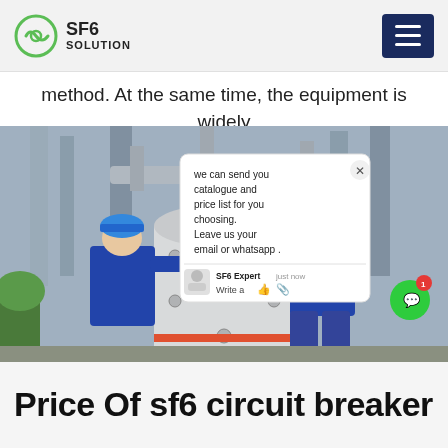SF6 SOLUTION
method. At the same time, the equipment is widely
[Figure (photo): Two workers in blue overalls and blue hard hats working on large industrial SF6 circuit breaker equipment outdoors. A chat popup overlay is visible on the right side of the image showing a message from 'SF6 Expert' saying 'we can send you catalogue and price list for you choosing. Leave us your email or whatsapp .']
Price Of sf6 circuit breaker